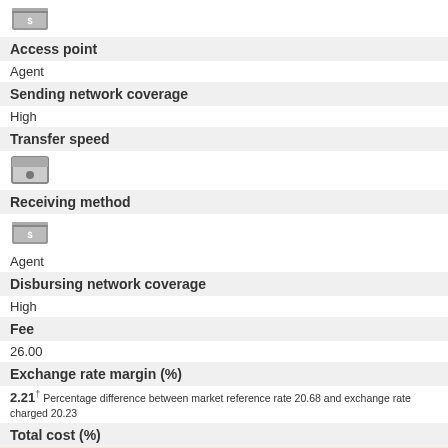[Figure (illustration): Money/cash icon (gray stacked bills with dollar sign)]
Access point
Agent
Sending network coverage
High
Transfer speed
[Figure (illustration): Calendar icon with a dot/bullet in center]
Receiving method
[Figure (illustration): Money/cash icon (gray stacked bills with dollar sign)]
Agent
Disbursing network coverage
High
Fee
26.00
Exchange rate margin (%)
2.21 Percentage difference between market reference rate 20.68 and exchange rate charged 20.23
Total cost (%)
5.67
Total cost (SAR)
42.53